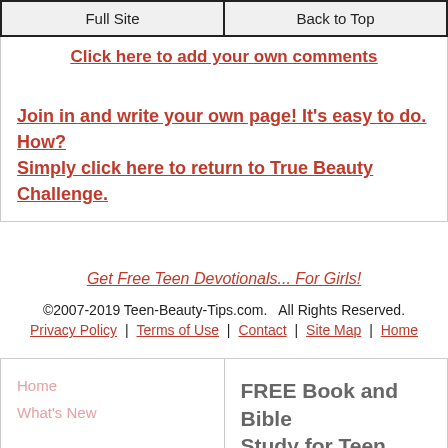Full Site | Back to Top
Click here to add your own comments
Join in and write your own page! It's easy to do. How? Simply click here to return to True Beauty Challenge.
Get Free Teen Devotionals... For Girls!
©2007-2019 Teen-Beauty-Tips.com.  All Rights Reserved.
Privacy Policy | Terms of Use | Contact | Site Map | Home
Home
What's New
FREE Book and Bible Study for Teen Girls